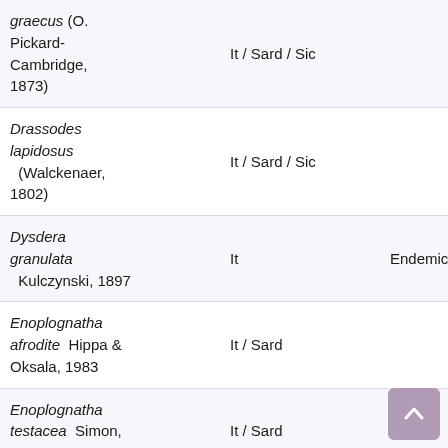| Species | Range | Status |
| --- | --- | --- |
| graecus (O. Pickard-Cambridge, 1873) | It / Sard / Sic |  |
| Drassodes lapidosus (Walckenaer, 1802) | It / Sard / Sic |  |
| Dysdera granulata Kulczynski, 1897 | It | Endemic |
| Enoplognatha afrodite Hippa & Oksala, 1983 | It / Sard |  |
| Enoplognatha testacea Simon, 1884 | It / Sard |  |